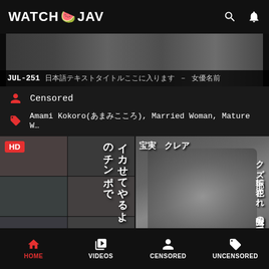WATCH JAV
[Figure (screenshot): Video thumbnail strip showing JUL-251 title with Japanese text]
JUL-251 [Japanese characters] – [Japanese characters]
Censored
Amami Kokoro(あまみこころ), Married Woman, Mature W…
[Figure (screenshot): Two video cover thumbnails side by side, left with HD badge showing Japanese adult video covers]
HOME  VIDEOS  CENSORED  UNCENSORED